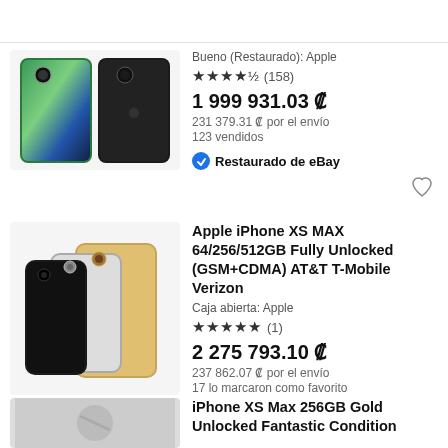[Figure (screenshot): eBay listing screenshot showing two iPhone XS Max product listings and the start of a third. First listing shows phone images (space gray front and back). Second listing shows iPhone XS Max in multiple colors (black, silver, gold). Third listing shows a partial gray image.]
Bueno (Restaurado): Apple
★★★★½ (158)
1 999 931.03 ₡
231 379.31 ₡ por el envío
123 vendidos
✔ Restaurado de eBay
Apple iPhone XS MAX 64/256/512GB Fully Unlocked (GSM+CDMA) AT&T T-Mobile Verizon
Caja abierta: Apple
★★★★★ (1)
2 275 793.10 ₡
237 862.07 ₡ por el envío
17 lo marcaron como favorito
iPhone XS Max 256GB Gold Unlocked Fantastic Condition